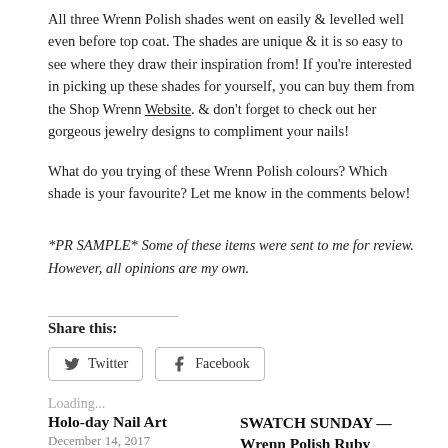All three Wrenn Polish shades went on easily & levelled well even before top coat. The shades are unique & it is so easy to see where they draw their inspiration from! If you're interested in picking up these shades for yourself, you can buy them from the Shop Wrenn Website. & don't forget to check out her gorgeous jewelry designs to compliment your nails!
What do you trying of these Wrenn Polish colours? Which shade is your favourite? Let me know in the comments below!
*PR SAMPLE* Some of these items were sent to me for review. However, all opinions are my own.
Share this:
Twitter   Facebook
Loading...
Holo-day Nail Art
December 14, 2017
In "Holiday"
SWATCH SUNDAY — Wrenn Polish Ruby Slippers & Intoxicated
January 5, 2020